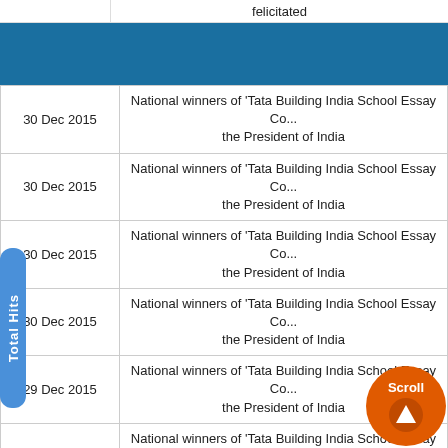| Date | Description |
| --- | --- |
| 30 Dec 2015 | National winners of 'Tata Building India School Essay Co... the President of India |
| 30 Dec 2015 | National winners of 'Tata Building India School Essay Co... the President of India |
| 30 Dec 2015 | National winners of 'Tata Building India School Essay Co... the President of India |
| 30 Dec 2015 | National winners of 'Tata Building India School Essay Co... the President of India |
| 29 Dec 2015 | National winners of 'Tata Building India School Essay Co... the President of India |
| 29 Dec 2015 | National winners of 'Tata Building India School Essay Co... the President of India |
| 29 Dec 2015 | National winners of 'Tata Building India School Essay Co... the President of India |
| 29 Dec 2015 | National winners of 'Tata Building India School Essay Co... the President of India |
| 29 Dec 2015 | National winners of 'Tata Building India School Essay Co... the President of India |
| 29 Dec 2015 | National winners of 'Tata Building India School Essay Co... |